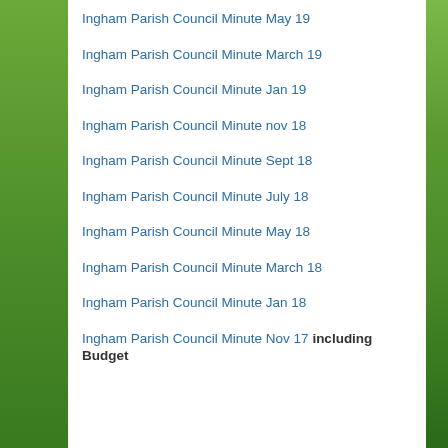Ingham Parish Council Minute May 19
Ingham Parish Council Minute March 19
Ingham Parish Council Minute Jan 19
Ingham Parish Council Minute nov 18
Ingham Parish Council Minute Sept 18
Ingham Parish Council Minute July 18
Ingham Parish Council Minute May 18
Ingham Parish Council Minute March 18
Ingham Parish Council Minute Jan 18
Ingham Parish Council Minute Nov 17 including Budget